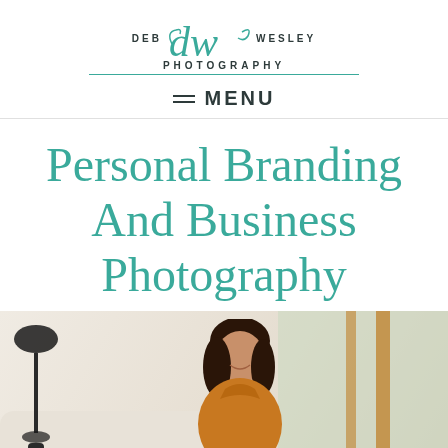DEB dw WESLEY PHOTOGRAPHY
≡ MENU
Personal Branding And Business Photography
[Figure (photo): A woman with dark hair wearing an orange/mustard top, seated on a white sofa in a bright room with large windows, smiling at the camera. A decorative lamp is visible on the left side.]